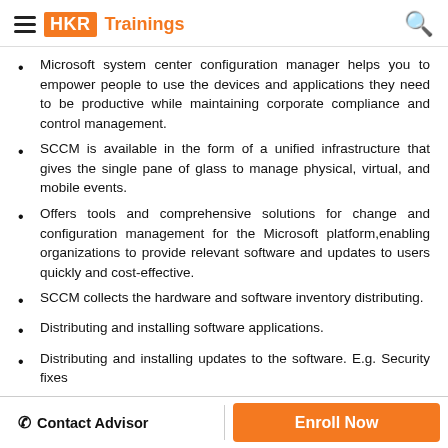HKR Trainings
Microsoft system center configuration manager helps you to empower people to use the devices and applications they need to be productive while maintaining corporate compliance and control management.
SCCM is available in the form of a unified infrastructure that gives the single pane of glass to manage physical, virtual, and mobile events.
Offers tools and comprehensive solutions for change and configuration management for the Microsoft platform,enabling organizations to provide relevant software and updates to users quickly and cost-effective.
SCCM collects the hardware and software inventory distributing.
Distributing and installing software applications.
Distributing and installing updates to the software. E.g. Security fixes
Deploying the operating system
Contact Advisor | Enroll Now